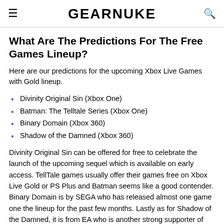GEARNUKE
What Are The Predictions For The Free Games Lineup?
Here are our predictions for the upcoming Xbox Live Games with Gold lineup.
Divinity Original Sin (Xbox One)
Batman: The Telltale Series (Xbox One)
Binary Domain (Xbox 360)
Shadow of the Damned (Xbox 360)
Divinity Original Sin can be offered for free to celebrate the launch of the upcoming sequel which is available on early access. TellTale games usually offer their games free on Xbox Live Gold or PS Plus and Batman seems like a good contender. Binary Domain is by SEGA who has released almost one game one the lineup for the past few months. Lastly as for Shadow of the Damned, it is from EA who is another strong supporter of Xbox Live Gold with free games.